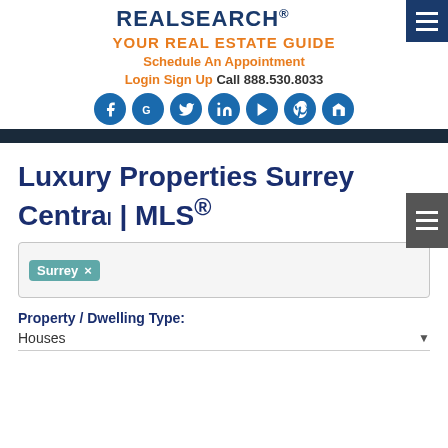REALSEARCH® YOUR REAL ESTATE GUIDE Schedule An Appointment Login Sign Up Call 888.530.8033
[Figure (infographic): Social media icons: Facebook, Google, Twitter, LinkedIn, YouTube, Pinterest, Home/House icon — all dark blue circles with white symbols]
Luxury Properties Surrey Central | MLS®
Surrey ×
Property / Dwelling Type:
Houses